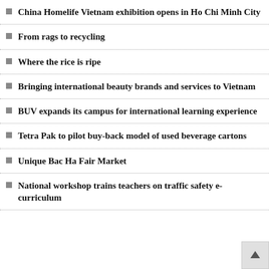China Homelife Vietnam exhibition opens in Ho Chi Minh City
From rags to recycling
Where the rice is ripe
Bringing international beauty brands and services to Vietnam
BUV expands its campus for international learning experience
Tetra Pak to pilot buy-back model of used beverage cartons
Unique Bac Ha Fair Market
National workshop trains teachers on traffic safety e-curriculum